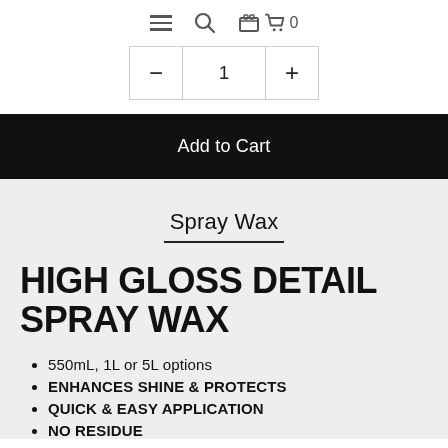≡ 🔍 🛒 0
− 1 +
Add to Cart
Spray Wax
HIGH GLOSS DETAIL SPRAY WAX
550mL, 1L or 5L options
ENHANCES SHINE & PROTECTS
QUICK & EASY APPLICATION
NO RESIDUE